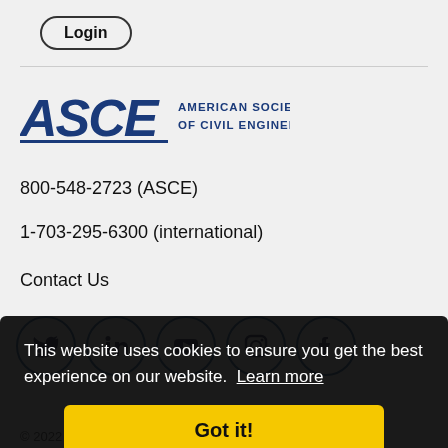[Figure (logo): Login button — rounded rectangle with 'Login' text]
[Figure (logo): ASCE American Society of Civil Engineers logo in blue]
800-548-2723 (ASCE)
1-703-295-6300 (international)
Contact Us
[Figure (infographic): Social media icons in circles: Twitter, LinkedIn, YouTube, Instagram, Facebook]
This website uses cookies to ensure you get the best experience on our website. Learn more
Got it!
© 2022 American Society of Civil Engi...